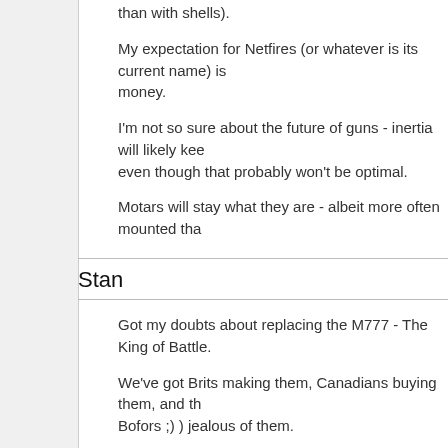than with shells).
My expectation for Netfires (or whatever is its current name) is money.
I'm not so sure about the future of guns - inertia will likely keep even though that probably won't be optimal.
Motars will stay what they are - albeit more often mounted tha
Stan
Got my doubts about replacing the M777 - The King of Battle.
We've got Brits making them, Canadians buying them, and th Bofors ;) ) jealous of them.
Between the Excalibur guided projectile, the 777's reputation recognizable howitzer "report", she will never be replaced by a
BayonetBrant
don't forget that 120mm mortars live at the BN level, which m